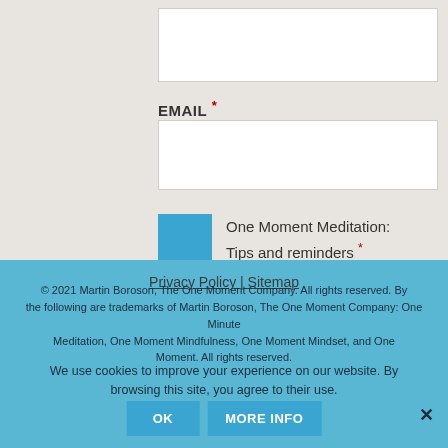EMAIL *
One Moment Meditation: Tips and reminders *
Leadership Training: News and opportunities
SEND
Privacy Policy | Sitemap
© 2021 Martin Boroson, The One Moment Company. All rights reserved. The following are trademarks of Martin Boroson, The One Moment Company: One Minute Meditation, One Moment Mindfulness, One Moment Mindset, and One Moment. All rights reserved.
We use cookies to improve your experience on our website. By browsing this site, you agree to their use.